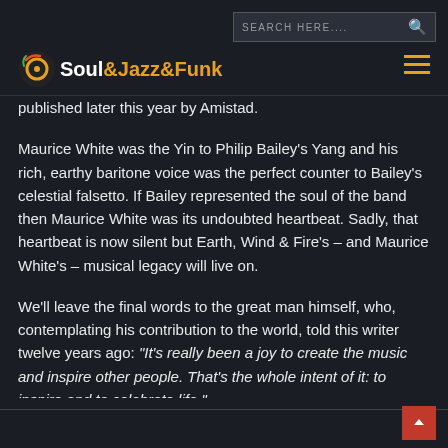Soul&Jazz&Funk
published later this year by Amistad.
Maurice White was the Yin to Philip Bailey's Yang and his rich, earthy baritone voice was the perfect counter to Bailey's celestial falsetto. If Bailey represented the soul of the band then Maurice White was its undoubted heartbeat. Sadly, that heartbeat is now silent but Earth, Wind & Fire's – and Maurice White's – musical legacy will live on.
We'll leave the final words to the great man himself, who, contemplating his contribution to the world, told this writer twelve years ago: “It's really been a joy to create the music and inspire other people. That's the whole intent of it: to inspire and to celebrate life.”